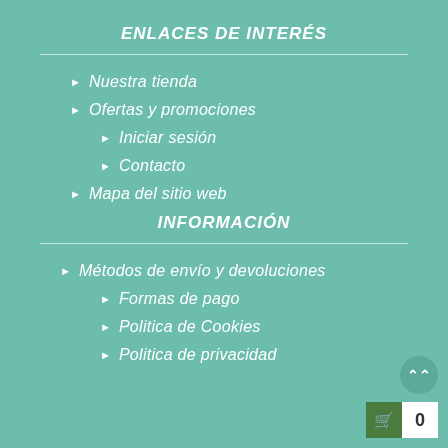ENLACES DE INTERÉS
Nuestra tienda
Ofertas y promociones
Iniciar sesión
Contacto
Mapa del sitio web
INFORMACIÓN
Métodos de envío y devoluciones
Formas de pago
Politica de Cookies
Politica de privacidad